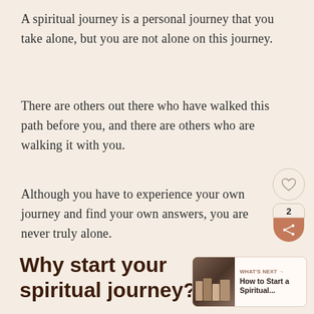A spiritual journey is a personal journey that you take alone, but you are not alone on this journey.
There are others out there who have walked this path before you, and there are others who are walking it with you.
Although you have to experience your own journey and find your own answers, you are never truly alone.
Why start your spiritual journey?
[Figure (other): UI widget: heart/like button (outlined heart icon on beige background), share count badge showing '2', and orange share icon button]
[Figure (other): What's Next card: photo thumbnail of books/notebooks on the left, label 'WHAT'S NEXT ->', title 'How to Start a Spiritual...']